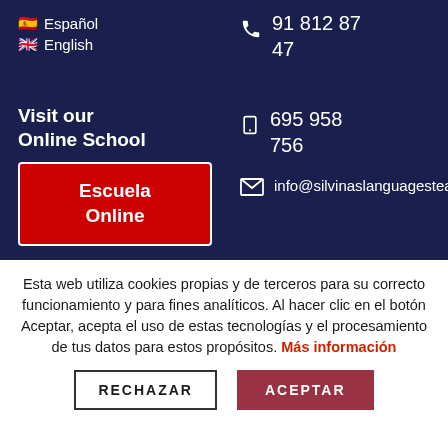🇪🇸 Español
🇬🇧 English
91 812 87 47
Visit our Online School
695 958 756
Escuela Online
info@silvinaslanguagesteam.
Esta web utiliza cookies propias y de terceros para su correcto funcionamiento y para fines analíticos. Al hacer clic en el botón Aceptar, acepta el uso de estas tecnologías y el procesamiento de tus datos para estos propósitos. Más información
RECHAZAR
ACEPTAR